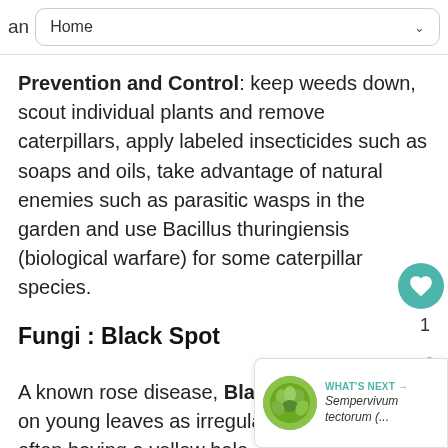an Home
Prevention and Control: keep weeds down, scout individual plants and remove caterpillars, apply labeled insecticides such as soaps and oils, take advantage of natural enemies such as parasitic wasps in the garden and use Bacillus thuringiensis (biological warfare) for some caterpillar species.
Fungi : Black Spot
A known rose disease, Black Spot appears on young leaves as irregular black circles, often having a yellow halo. Circles or spots may grow to 1/2 inch in diameter. Leaves will
[Figure (photo): Circular thumbnail photo of Sempervivum tectorum plant with green rosette appearance, used as 'What's Next' navigation preview]
WHAT'S NEXT → Sempervivum tectorum (...